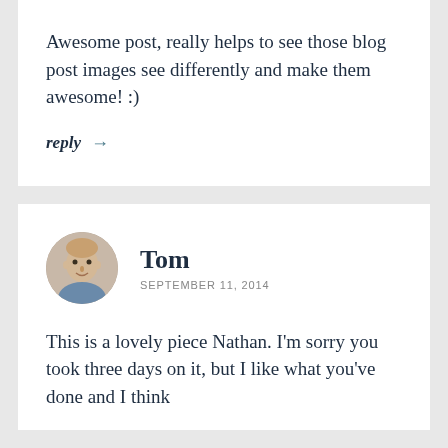Awesome post, really helps to see those blog post images see differently and make them awesome! :)
reply →
[Figure (photo): Circular avatar photo of Tom, a man with short hair]
Tom
SEPTEMBER 11, 2014
This is a lovely piece Nathan. I'm sorry you took three days on it, but I like what you've done and I think